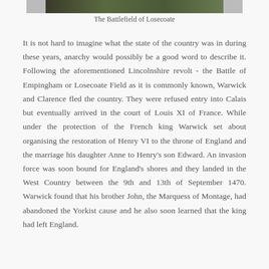[Figure (photo): Aerial or landscape photograph of the Battlefield of Losecoate, showing green fields and terrain.]
The Battlefield of Losecoate
It is not hard to imagine what the state of the country was in during these years, anarchy would possibly be a good word to describe it. Following the aforementioned Lincolnshire revolt - the Battle of Empingham or Losecoate Field as it is commonly known, Warwick and Clarence fled the country. They were refused entry into Calais but eventually arrived in the court of Louis XI of France. While under the protection of the French king Warwick set about organising the restoration of Henry VI to the throne of England and the marriage his daughter Anne to Henry's son Edward. An invasion force was soon bound for England's shores and they landed in the West Country between the 9th and 13th of September 1470. Warwick found that his brother John, the Marquess of Montage, had abandoned the Yorkist cause and he also soon learned that the king had left England.